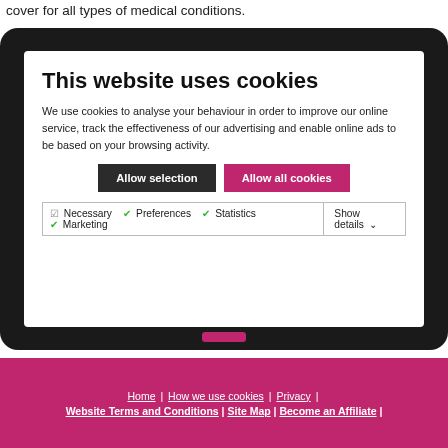cover for all types of medical conditions.
[Figure (screenshot): Cookie consent dialog overlay on a tablet device. Shows title 'This website uses cookies', explanatory text, two buttons ('Allow selection' and 'Allow all cookies'), and a table of cookie options (Necessary, Preferences, Statistics, Marketing) with checkboxes and a 'Show details' dropdown.]
Home | How we use cookies | Privacy | Website Terms and Conditions | Site Map | Become an Affiliate |